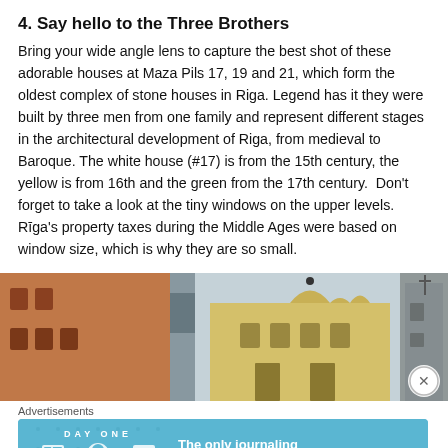4. Say hello to the Three Brothers
Bring your wide angle lens to capture the best shot of these adorable houses at Maza Pils 17, 19 and 21, which form the oldest complex of stone houses in Riga. Legend has it they were built by three men from one family and represent different stages in the architectural development of Riga, from medieval to Baroque. The white house (#17) is from the 15th century, the yellow is from 16th and the green from the 17th century.  Don't forget to take a look at the tiny windows on the upper levels. Rīga's property taxes during the Middle Ages were based on window size, which is why they are so small.
[Figure (photo): Photograph of the Three Brothers buildings in Riga — left shows an orange/terracotta medieval building, center shows a yellow Baroque building with ornate gable, right shows a grey stone building facade, all viewed from below against a pale sky.]
Advertisements
[Figure (infographic): Day One journaling app advertisement banner with blue background, showing app logo icons and text 'The only journaling app you'll ever need.']